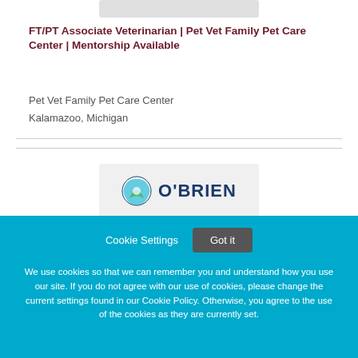[Figure (logo): Partial logo/banner at top of page, gray rectangle]
FT/PT Associate Veterinarian | Pet Vet Family Pet Care Center | Mentorship Available
Pet Vet Family Pet Care Center
Kalamazoo, Michigan
[Figure (logo): O'Brien logo with circular icon and bold blue text reading O'BRIEN]
Cookie Settings   Got it
We use cookies so that we can remember you and understand how you use our site. If you do not agree with our use of cookies, please change the current settings found in our Cookie Policy. Otherwise, you agree to the use of the cookies as they are currently set.